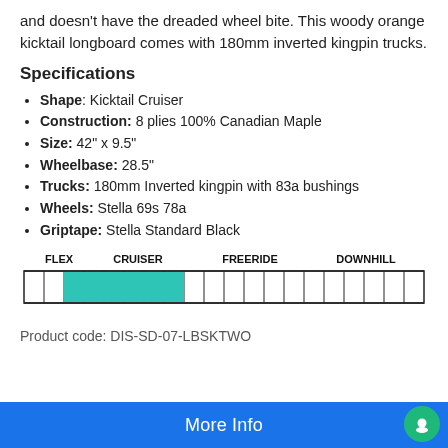and doesn't have the dreaded wheel bite. This woody orange kicktail longboard comes with 180mm inverted kingpin trucks.
Specifications
Shape: Kicktail Cruiser
Construction: 8 plies 100% Canadian Maple
Size: 42" x 9.5"
Wheelbase: 28.5"
Trucks: 180mm Inverted kingpin with 83a bushings
Wheels: Stella 69s 78a
Griptape: Stella Standard Black
[Figure (infographic): Flex rating bar showing FLEX, CRUISER, FREERIDE, DOWNHILL categories with teal/cyan filled boxes in the FLEX-CRUISER range]
Product code: DIS-SD-07-LBSKTWO
More Info